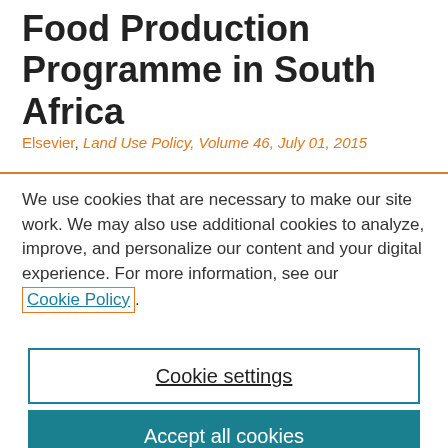Food Production Programme in South Africa
Elsevier, Land Use Policy, Volume 46, July 01, 2015
We use cookies that are necessary to make our site work. We may also use additional cookies to analyze, improve, and personalize our content and your digital experience. For more information, see our Cookie Policy.
Cookie settings
Accept all cookies